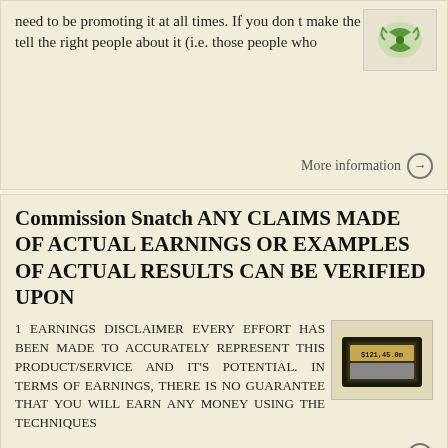need to be promoting it at all times. If you don t make the effort to tell the right people about it (i.e. those people who
More information →
Commission Snatch ANY CLAIMS MADE OF ACTUAL EARNINGS OR EXAMPLES OF ACTUAL RESULTS CAN BE VERIFIED UPON
1 EARNINGS DISCLAIMER EVERY EFFORT HAS BEEN MADE TO ACCURATELY REPRESENT THIS PRODUCT/SERVICE AND IT'S POTENTIAL. IN TERMS OF EARNINGS, THERE IS NO GUARANTEE THAT YOU WILL EARN ANY MONEY USING THE TECHNIQUES
More information →
You may share this document as long as